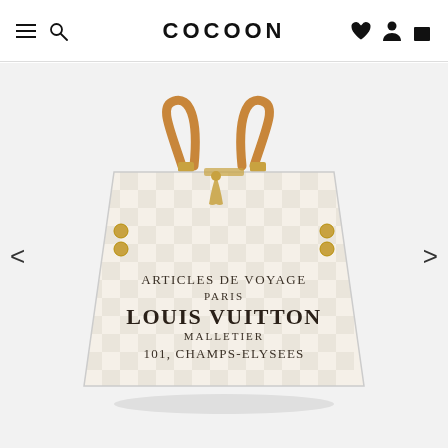COCOON — Navigation bar with menu, search, wishlist, account, and cart icons
[Figure (photo): Louis Vuitton Damier Azur canvas tote bag with tan leather handles, gold hardware, and text reading 'ARTICLES DE VOYAGE PARIS LOUIS VUITTON MALLETIER 101, CHAMPS-ELYSEES' on a light grey background. Product listing on COCOON resale website.]